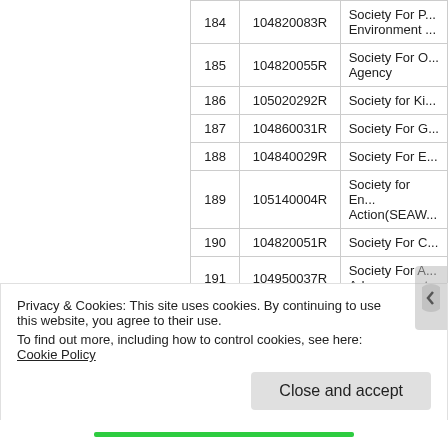| # | Code | Name |
| --- | --- | --- |
| 184 | 104820083R | Society For P... Environment ... |
| 185 | 104820055R | Society For O... Agency |
| 186 | 105020292R | Society for Ki... |
| 187 | 104860031R | Society For G... |
| 188 | 104840029R | Society For E... |
| 189 | 105140004R | Society for En... Action(SEAW... |
| 190 | 104820051R | Society For C... |
| 191 | 104950037R | Society For A... Advancement... |
Privacy & Cookies: This site uses cookies. By continuing to use this website, you agree to their use. To find out more, including how to control cookies, see here: Cookie Policy
Close and accept